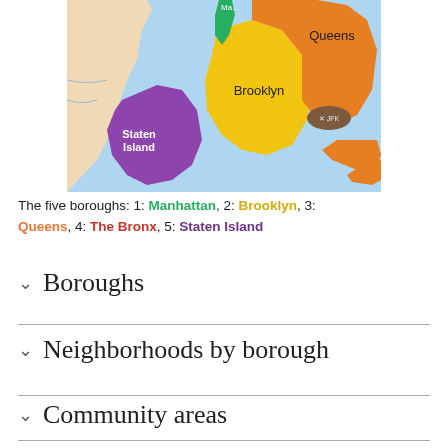[Figure (map): Map of the five boroughs of New York City. Staten Island is purple (lower left), Brooklyn is yellow (center), Queens is orange (upper right), The Bronx is green (upper center), Manhattan is a small green area. JFK airport is marked in brown. Surrounding water is light blue.]
The five boroughs: 1: Manhattan, 2: Brooklyn, 3: Queens, 4: The Bronx, 5: Staten Island
Boroughs
Neighborhoods by borough
Community areas